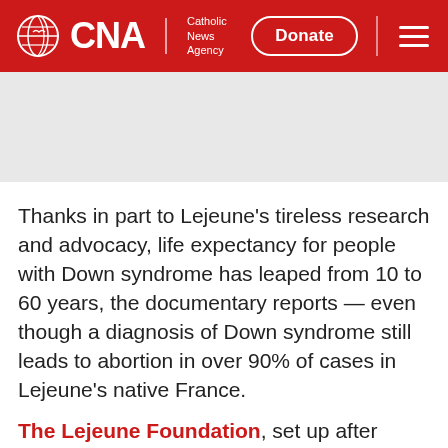CNA Catholic News Agency | Donate
[Figure (other): Gray placeholder banner/advertisement area]
Thanks in part to Lejeune’s tireless research and advocacy, life expectancy for people with Down syndrome has leaped from 10 to 60 years, the documentary reports — even though a diagnosis of Down syndrome still leads to abortion in over 90% of cases in Lejeune’s native France.
The Lejeune Foundation, set up after Lejeune died at age 67 in 1994, continues to research for